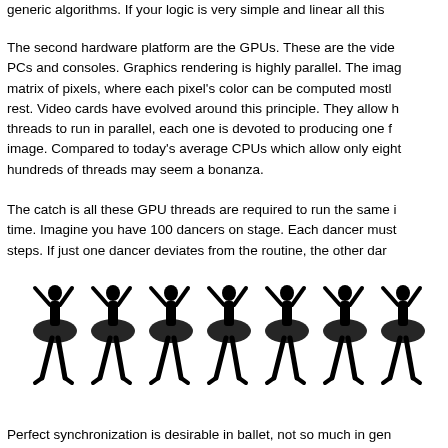generic algorithms. If your logic is very simple and linear all this
The second hardware platform are the GPUs. These are the video PCs and consoles. Graphics rendering is highly parallel. The image matrix of pixels, where each pixel's color can be computed mostly rest. Video cards have evolved around this principle. They allow h threads to run in parallel, each one is devoted to producing one f image. Compared to today's average CPUs which allow only eight hundreds of threads may seem a bonanza.
The catch is all these GPU threads are required to run the same i time. Imagine you have 100 dancers on stage. Each dancer must steps. If just one dancer deviates from the routine, the other dar
[Figure (illustration): Seven black silhouettes of ballet dancers in identical poses with arms raised, arranged in a row.]
Perfect synchronization is desirable in ballet, not so much in gen